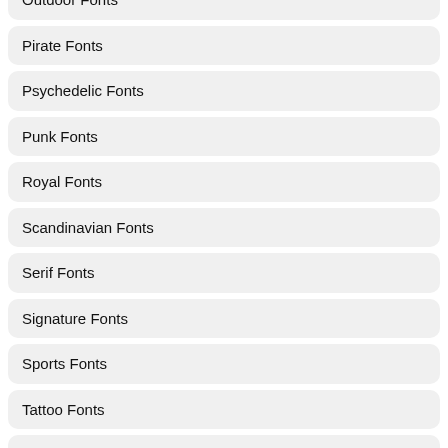Outdoor Fonts
Pirate Fonts
Psychedelic Fonts
Punk Fonts
Royal Fonts
Scandinavian Fonts
Serif Fonts
Signature Fonts
Sports Fonts
Tattoo Fonts
Typewriter Fonts
Thick Fonts